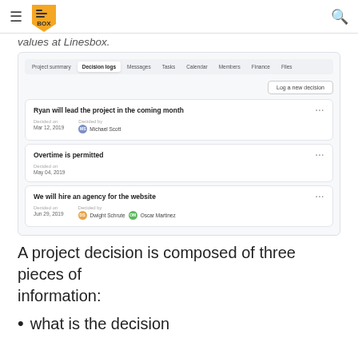Linesbox logo and navigation
values at Linesbox.
[Figure (screenshot): Screenshot of Linesbox project management app showing the Decision logs tab with three decisions: 'Ryan will lead the project in the coming month' (Decided on Mar 12, 2019, Decided by Michael Scott), 'Overtime is permitted' (Decided on May 04, 2019), and 'We will hire an agency for the website' (Decided on Jun 29, 2019, Decided by Dwight Schrute and Oscar Martinez). A 'Log a new decision' button is visible top right.]
A project decision is composed of three pieces of information:
what is the decision